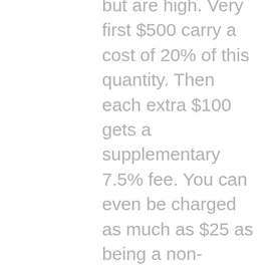but are high. Very first $500 carry a cost of 20% of this quantity. Then each extra $100 gets a supplementary 7.5% fee. You can even be charged as much as $25 as being a non-refundable charge. You send in your bank account details although payday advances Denver no bank account is required. That info is only offered to make certain that in the event that you are not able to spend up, the amount of money could be withdrawn from your own account.